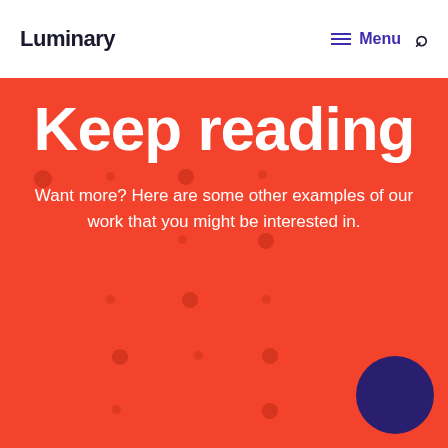Luminary  Menu
Keep reading
Want more? Here are some other examples of our work that you might be interested in.
[Figure (illustration): Decorative dot pattern on red background with a large dark navy circle in the bottom right corner]